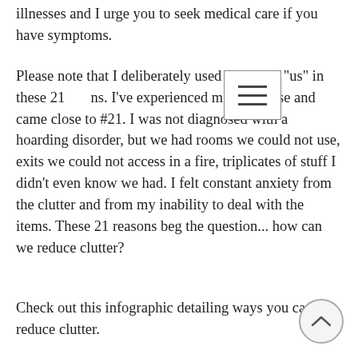illnesses and I urge you to seek medical care if you have symptoms.
Please note that I deliberately used "we" and "us" in these 21 ns. I've experienced most of these and came close to #21. I was not diagnosed with a hoarding disorder, but we had rooms we could not use, exits we could not access in a fire, triplicates of stuff I didn't even know we had. I felt constant anxiety from the clutter and from my inability to deal with the items. These 21 reasons beg the question... how can we reduce clutter?
Check out this infographic detailing ways you can reduce clutter.